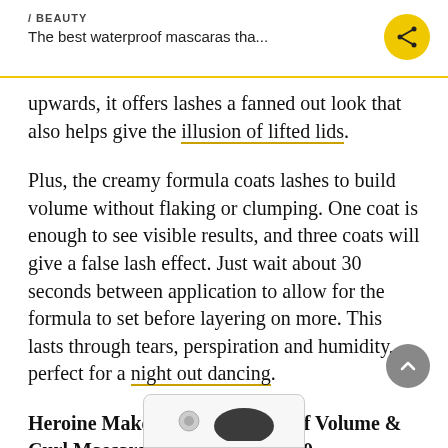/ BEAUTY
The best waterproof mascaras tha...
upwards, it offers lashes a fanned out look that also helps give the illusion of lifted lids.
Plus, the creamy formula coats lashes to build volume without flaking or clumping. One coat is enough to see visible results, and three coats will give a false lash effect. Just wait about 30 seconds between application to allow for the formula to set before layering on more. This lasts through tears, perspiration and humidity, perfect for a night out dancing.
Heroine Make Super Waterproof Volume & Curl Mascara in Black 01, $21.90
[Figure (photo): Partial view of product image at bottom of page]